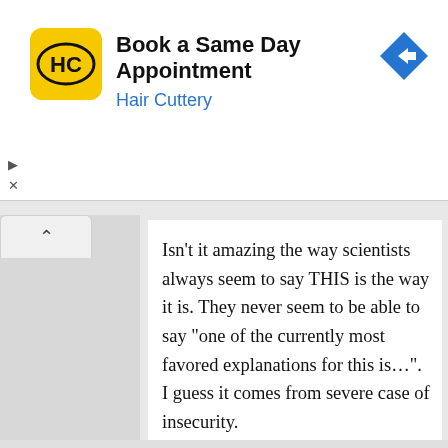[Figure (logo): Hair Cuttery 'HC' yellow square logo]
Book a Same Day Appointment
Hair Cuttery
[Figure (other): Blue diamond navigation arrow icon]
Isn’t it amazing the way scientists always seem to say THIS is the way it is. They never seem to be able to say “one of the currently most favored explanations for this is…”. I guess it comes from severe case of insecurity.
As to the question of whether the universe goes on forever, of course it doesn’t! I mean, if it did, where are they going to put all those other universes I’ve heard exist…